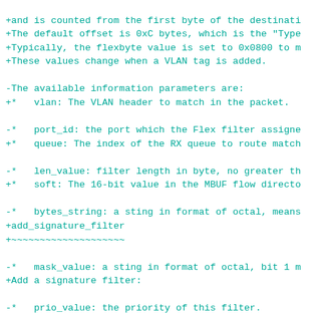diff/patch-style code block showing changes to filter documentation and signature filter commands